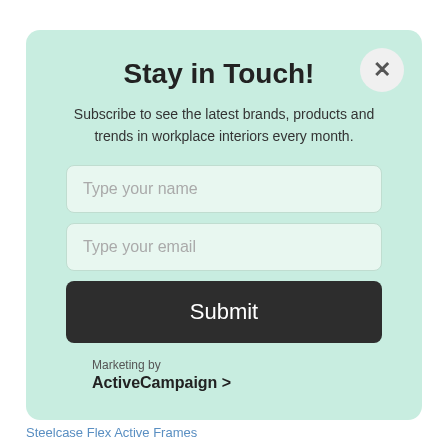Stay in Touch!
Subscribe to see the latest brands, products and trends in workplace interiors every month.
Type your name
Type your email
Submit
Marketing by
ActiveCampaign >
Steelcase Flex Active Frames